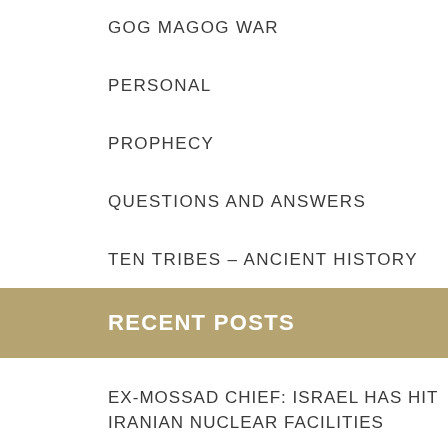GOG MAGOG WAR
PERSONAL
PROPHECY
QUESTIONS AND ANSWERS
TEN TRIBES – ANCIENT HISTORY
RECENT POSTS
EX-MOSSAD CHIEF: ISRAEL HAS HIT IRANIAN NUCLEAR FACILITIES